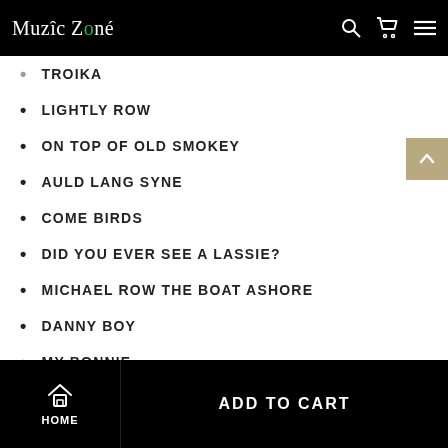Muzic Zoné — navigation header with search, cart, and menu icons
TROIKA
LIGHTLY ROW
ON TOP OF OLD SMOKEY
AULD LANG SYNE
COME BIRDS
DID YOU EVER SEE A LASSIE?
MICHAEL ROW THE BOAT ASHORE
DANNY BOY
MY BONNIE
HOME SWEET HOME
AURA LEE
HOME — ADD TO CART